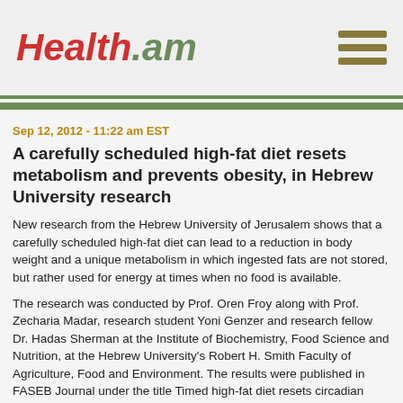Health.am
Sep 12, 2012 - 11:22 am EST
A carefully scheduled high-fat diet resets metabolism and prevents obesity, in Hebrew University research
New research from the Hebrew University of Jerusalem shows that a carefully scheduled high-fat diet can lead to a reduction in body weight and a unique metabolism in which ingested fats are not stored, but rather used for energy at times when no food is available.
The research was conducted by Prof. Oren Froy along with Prof. Zecharia Madar, research student Yoni Genzer and research fellow Dr. Hadas Sherman at the Institute of Biochemistry, Food Science and Nutrition, at the Hebrew University's Robert H. Smith Faculty of Agriculture, Food and Environment. The results were published in FASEB Journal under the title Timed high-fat diet resets circadian metabolism and prevents obesity.